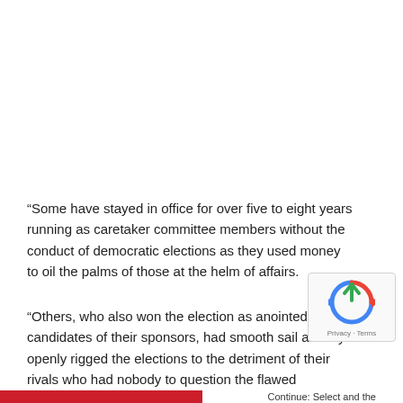“Some have stayed in office for over five to eight years running as caretaker committee members without the conduct of democratic elections as they used money to oil the palms of those at the helm of affairs.
“Others, who also won the election as anointed candidates of their sponsors, had smooth sail as they openly rigged the elections to the detriment of their rivals who had nobody to question the flawed elections.
Continue: Select and the